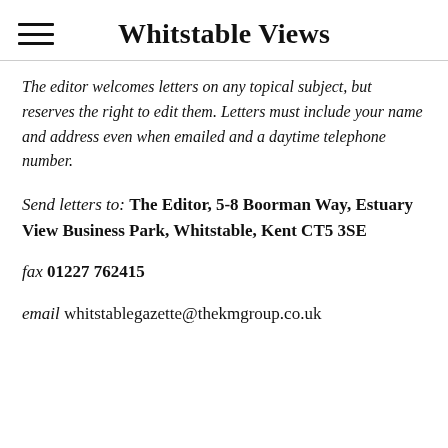Whitstable Views
The editor welcomes letters on any topical subject, but reserves the right to edit them. Letters must include your name and address even when emailed and a daytime telephone number.
Send letters to: The Editor, 5-8 Boorman Way, Estuary View Business Park, Whitstable, Kent CT5 3SE
fax 01227 762415
email whitstablegazette@thekmgroup.co.uk